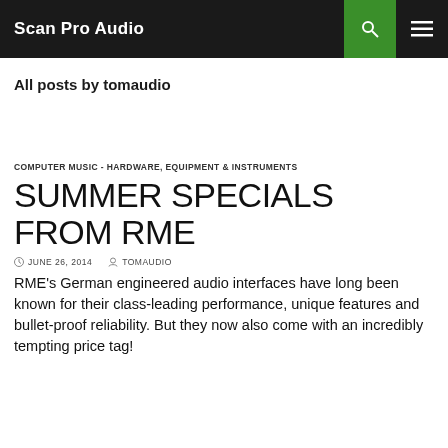Scan Pro Audio
All posts by tomaudio
COMPUTER MUSIC - HARDWARE, EQUIPMENT & INSTRUMENTS
SUMMER SPECIALS FROM RME
JUNE 26, 2014  TOMAUDIO
RME's German engineered audio interfaces have long been known for their class-leading performance, unique features and bullet-proof reliability.  But they now also come with an incredibly tempting price tag!